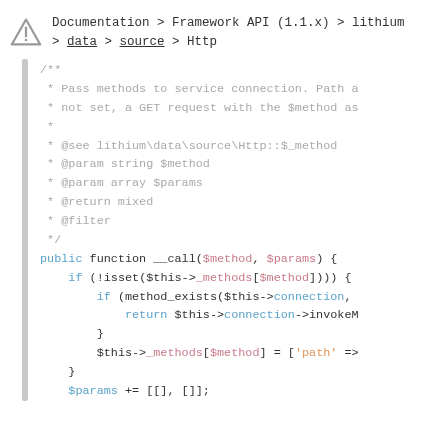Documentation > Framework API (1.1.x) > lithium > data > source > Http
/** * Pass methods to service connection. Path a * not set, a GET request with the $method as * * @see lithium\data\source\Http::$_method * @param string $method * @param array $params * @return mixed * @filter */ public function __call($method, $params) { if (!isset($this->_methods[$method])) { if (method_exists($this->connection, return $this->connection->invokeM } $this->_methods[$method] = ['path' => } $params += [[], []];